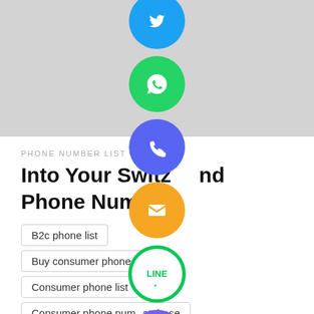[Figure (screenshot): Social media/messaging app icon buttons (Twitter/blue, WhatsApp green, Phone blue-purple, Email orange, LINE green, Viber purple, Close green) arranged vertically as floating action buttons overlaid on the page]
PHONE NUMBER LIST
Into Your Switzerland Phone Number
B2c phone list
Buy consumer phone list
Consumer phone list
Consumer phone number database
country phone list
Person phone list